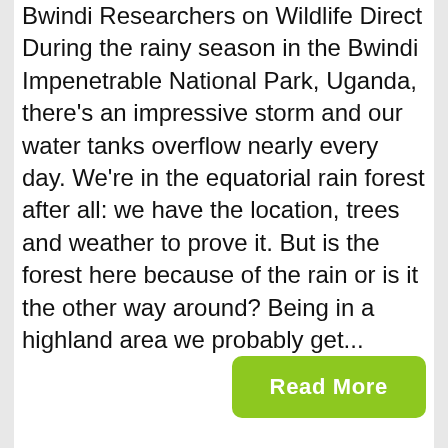Bwindi Researchers on Wildlife Direct During the rainy season in the Bwindi Impenetrable National Park, Uganda, there's an impressive storm and our water tanks overflow nearly every day. We're in the equatorial rain forest after all: we have the location, trees and weather to prove it. But is the forest here because of the rain or is it the other way around? Being in a highland area we probably get...
Read More